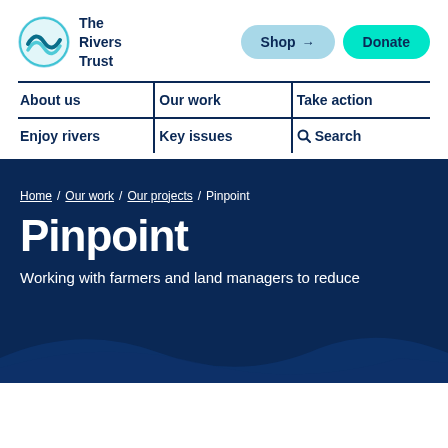[Figure (logo): The Rivers Trust logo — circular teal wave icon with dark navy text 'The Rivers Trust']
Shop   Donate
About us   Our work   Take action
Enjoy rivers   Key issues   Search
Home / Our work / Our projects / Pinpoint
Pinpoint
Working with farmers and land managers to reduce